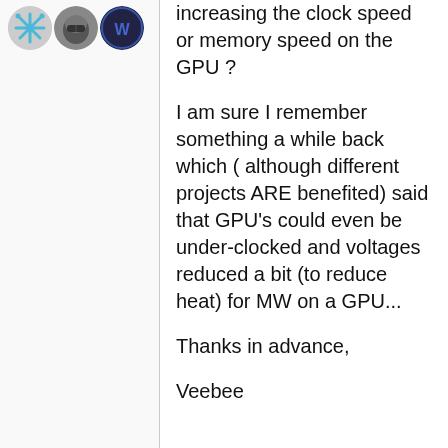[Figure (illustration): Three circular avatar icons side by side representing user profile images with stylized graphics in blue and gray tones.]
increasing the clock speed or memory speed on the GPU ? I am sure I remember something a while back which ( although different projects ARE benefited) said that GPU's could even be under-clocked and voltages reduced a bit (to reduce heat) for MW on a GPU...

Thanks in advance,

Veebee